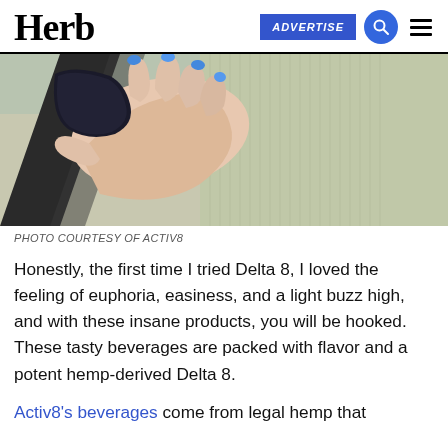Herb | ADVERTISE
[Figure (photo): Close-up photo of a hand with blue painted nails holding a dark object, person wearing a beige/olive knit sweater with a black strap visible]
PHOTO COURTESY OF ACTIV8
Honestly, the first time I tried Delta 8, I loved the feeling of euphoria, easiness, and a light buzz high, and with these insane products, you will be hooked. These tasty beverages are packed with flavor and a potent hemp-derived Delta 8.
Activ8's beverages come from legal hemp that